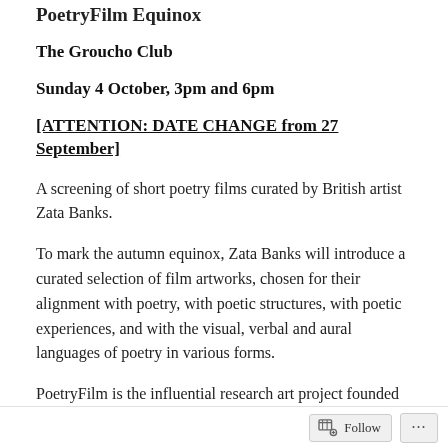PoetryFilm Equinox
The Groucho Club
Sunday 4 October, 3pm and 6pm
[ATTENTION: DATE CHANGE from 27 September]
A screening of short poetry films curated by British artist Zata Banks.
To mark the autumn equinox, Zata Banks will introduce a curated selection of film artworks, chosen for their alignment with poetry, with poetic structures, with poetic experiences, and with the visual, verbal and aural languages of poetry in various forms.
PoetryFilm is the influential research art project founded
Follow